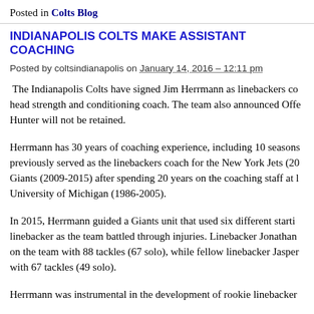Posted in Colts Blog
INDIANAPOLIS COLTS MAKE ASSISTANT COACHING
Posted by coltsindianapolis on January 14, 2016 – 12:11 pm
The Indianapolis Colts have signed Jim Herrmann as linebackers co head strength and conditioning coach. The team also announced Offe Hunter will not be retained.
Herrmann has 30 years of coaching experience, including 10 seasons previously served as the linebackers coach for the New York Jets (20 Giants (2009-2015) after spending 20 years on the coaching staff at l University of Michigan (1986-2005).
In 2015, Herrmann guided a Giants unit that used six different starti linebacker as the team battled through injuries. Linebacker Jonathan on the team with 88 tackles (67 solo), while fellow linebacker Jasper with 67 tackles (49 solo).
Herrmann was instrumental in the development of rookie linebacker